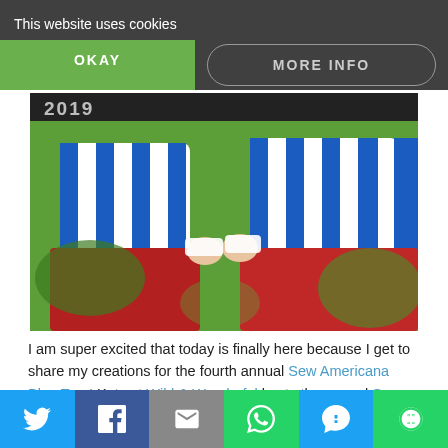This website uses cookies
OKAY
MORE INFO
[Figure (photo): Children wearing blue and white striped shirts and red shorts/skirt, photographed from behind, with green foliage in background. Blog tour header image with text overlay '2019 [blog title]'.]
I am super excited that today is finally here because I get to share my creations for the fourth annual Sew Americana Blog Tour!  Katy at Wild & Wanderful hosts the annual Sew Americana Blog Tour.  Be sure to read all the way to the end to see the list of fabulous bloggers participating.
HAPPY BIRTHDAY, AMERICA!
I love celebrating Independence Day every year! Each year is